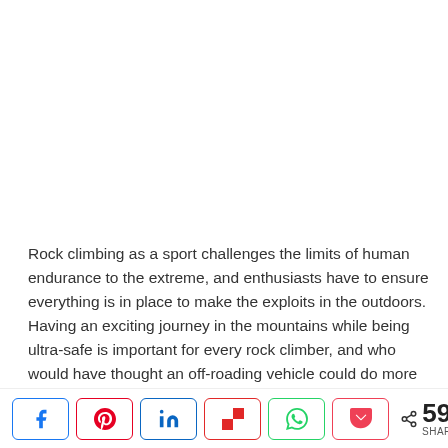Rock climbing as a sport challenges the limits of human endurance to the extreme, and enthusiasts have to ensure everything is in place to make the exploits in the outdoors. Having an exciting journey in the mountains while being ultra-safe is important for every rock climber, and who would have thought an off-roading vehicle could do more than just ferry you to the base camp.